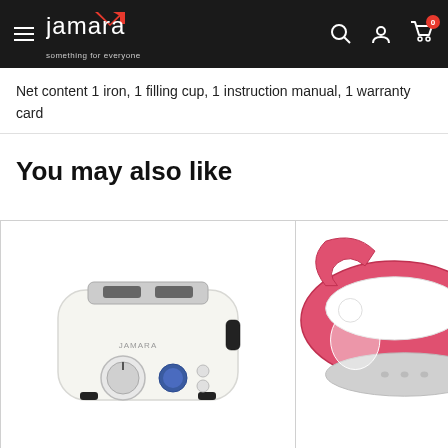jamara something for everyone
Net content 1 iron, 1 filling cup, 1 instruction manual, 1 warranty card
You may also like
[Figure (photo): White toaster with blue dial and control buttons, Jamara branded]
[Figure (photo): Pink and white steam iron, partially visible]